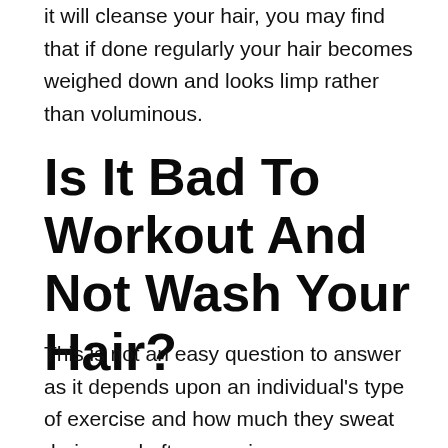it will cleanse your hair, you may find that if done regularly your hair becomes weighed down and looks limp rather than voluminous.
Is It Bad To Workout And Not Wash Your Hair?
This is not an easy question to answer as it depends upon an individual's type of exercise and how much they sweat during and after exercise.